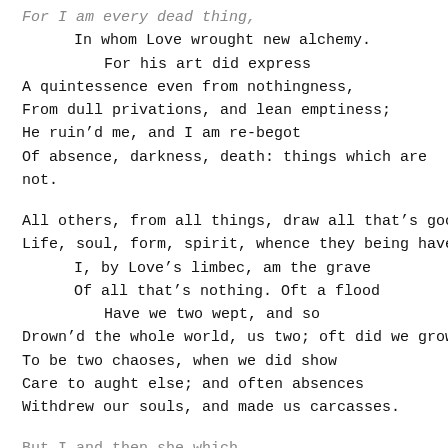For I am every dead thing,
    In whom Love wrought new alchemy.
        For his art did express
A quintessence even from nothingness,
From dull privations, and lean emptiness;
He ruin'd me, and I am re-begot
Of absence, darkness, death: things which are
not.

All others, from all things, draw all that's good,
Life, soul, form, spirit, whence they being have;
    I, by Love's limbec, am the grave
    Of all that's nothing. Oft a flood
        Have we two wept, and so
Drown'd the whole world, us two; oft did we grow
To be two chaoses, when we did show
Care to aught else; and often absences
Withdrew our souls, and made us carcasses.

But I ...